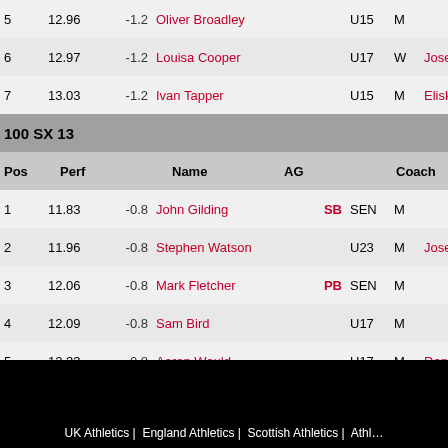| Pos | Perf |  | Name |  | AG |  | Coach |
| --- | --- | --- | --- | --- | --- | --- | --- |
| 5 | 12.96 | -1.2 | Oliver Broadley |  | U15 | M |  |
| 6 | 12.97 | -1.2 | Louisa Cooper |  | U17 | W | Joseph McDonne… |
| 7 | 13.03 | -1.2 | Ivan Tapper |  | U15 | M | Eliska Binks |
100 SX 13
| Pos | Perf |  | Name |  | AG |  | Coach |
| --- | --- | --- | --- | --- | --- | --- | --- |
| 1 | 11.83 | -0.8 | John Gilding | SB | SEN | M |  |
| 2 | 11.96 | -0.8 | Stephen Watson |  | U23 | M | Joseph McDonne… |
| 3 | 12.06 | -0.8 | Mark Fletcher | PB | SEN | M |  |
| 4 | 12.09 | -0.8 | Sam Bird |  | U17 | M |  |
| 5 | 12.33 | -0.8 | Aaron Would |  | U17 | M | Denise Timmis |
| 6 | 12.82 | -0.8 | Kieran Bruce | PB | U23 | M |  |
100 SX 14
| Pos | Perf |  | Name |  | AG |  | Coach |
| --- | --- | --- | --- | --- | --- | --- | --- |
| 1 | 11.12 | -2.1 | Owin Sinclair |  | U17 | M | Leon Baptiste |
| 2 | 11.14 | -2.1 | Daniel Obeng |  | U23 | M | Leon Baptiste |
| 3 | 11.36 | -2.1 | Nathan Togun |  | U20 | M |  |
| 4 | 11.67 | -2.1 | Jack Allen |  | U17 | M |  |
| 5 | 11.88 | -2.1 | Benjamin Mattinson |  | U15 | M | David Hourd |
UK Athletics |  England Athletics |  Scottish Athletics |  Athl…